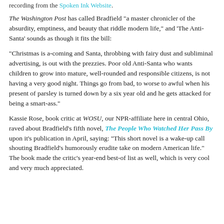recording from the Spoken Ink Website.
The Washington Post has called Bradfield "a master chronicler of the absurdity, emptiness, and beauty that riddle modern life," and 'The Anti-Santa' sounds as though it fits the bill:
"Christmas is a-coming and Santa, throbbing with fairy dust and subliminal advertising, is out with the prezzies. Poor old Anti-Santa who wants children to grow into mature, well-rounded and responsible citizens, is not having a very good night. Things go from bad, to worse to awful when his present of parsley is turned down by a six year old and he gets attacked for being a smart-ass."
Kassie Rose, book critic at WOSU, our NPR-affiliate here in central Ohio, raved about Bradfield's fifth novel, The People Who Watched Her Pass By upon it's publication in April, saying: "This short novel is a wake-up call shouting Bradfield's humorously erudite take on modern American life." The book made the critic's year-end best-of list as well, which is very cool and very much appreciated.